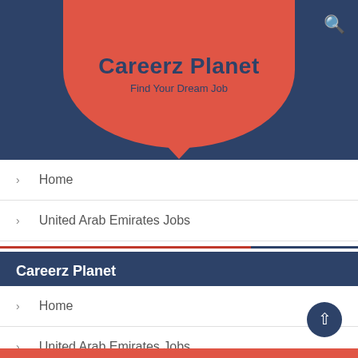[Figure (logo): Careerz Planet logo badge - red rounded shape on dark blue header background]
Careerz Planet
Find Your Dream Job
Home
United Arab Emirates Jobs
Contact Us
About Us
Post Job
Careerz Planet
Home
United Arab Emirates Jobs